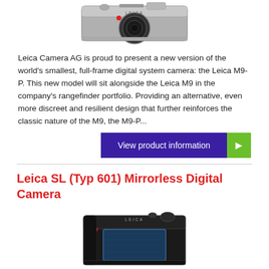[Figure (photo): Top portion of a Leica M9-P rangefinder camera, silver and black, shown from the front]
Leica Camera AG is proud to present a new version of the world's smallest, full-frame digital system camera: the Leica M9-P. This new model will sit alongside the Leica M9 in the company's rangefinder portfolio. Providing an alternative, even more discreet and resilient design that further reinforces the classic nature of the M9, the M9-P...
[Figure (screenshot): Button: 'View product information' with purple background and green arrow button on right]
Leica SL (Typ 601) Mirrorless Digital Camera
[Figure (photo): Leica SL (Typ 601) mirrorless digital camera body, black, shown from the front without lens]
PRODUCT HIGHLIGHTS24MP Full-Frame CMOS SensorLeica Maestro II Image ProcessorInternal DCI 4K Video & L-Log Gamma0.66" 4.4MP 0.8x Electronic ViewfinderBest-in-class may be an understatement for the Leica SL (Typ 601) Mirrorless Digital Camera, an outstanding full-frame model that is offering professionals the "new Leica experience." This generation of Leica is